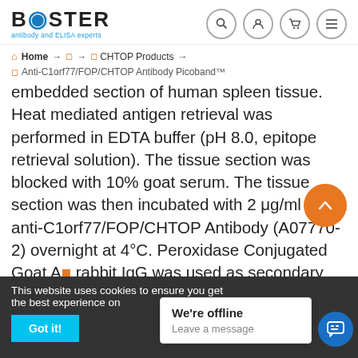[Figure (logo): Boster logo with text 'antibody and ELISA experts']
[Figure (infographic): Navigation icons: search, user, cart, hamburger menu]
Home → → CHTOP Products →
Anti-C1orf77/FOP/CHTOP Antibody Picoband™
embedded section of human spleen tissue. Heat mediated antigen retrieval was performed in EDTA buffer (pH 8.0, epitope retrieval solution). The tissue section was blocked with 10% goat serum. The tissue section was then incubated with 2 μg/ml rabbit anti-C1orf77/FOP/CHTOP Antibody (A07770-2) overnight at 4°C. Peroxidase Conjugated Goat Anti-rabbit IgG was used as secondary antibody and incubated for 30 minutes at 37°C. The tissue section was developed using HRP Conjugated Rabbit IgG SuperVision Assay Kit (Catalog #SV0002) with DAB
This website uses cookies to ensure you get the best experience on
We're offline
Leave a message